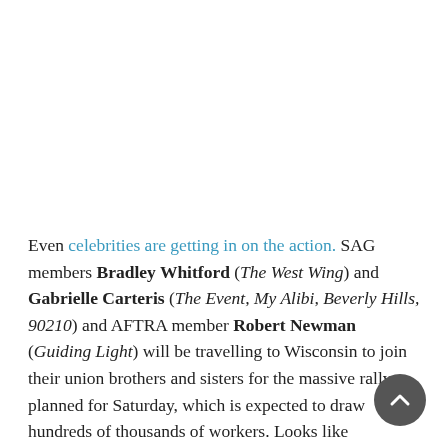Even celebrities are getting in on the action. SAG members Bradley Whitford (The West Wing) and Gabrielle Carteris (The Event, My Alibi, Beverly Hills, 90210) and AFTRA member Robert Newman (Guiding Light) will be travelling to Wisconsin to join their union brothers and sisters for the massive rally planned for Saturday, which is expected to draw hundreds of thousands of workers. Looks like Wisconsin Governor Walker SERIOUSLY underestimated the power and reach of the unified Labor Movement.